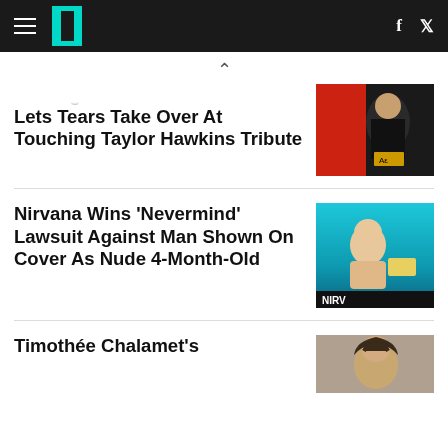HuffPost navigation bar with hamburger menu, logo, Facebook and Twitter icons
Foo Fighters' Dave Grohl Lets Tears Take Over At Touching Taylor Hawkins Tribute
[Figure (photo): Photo of Dave Grohl, man with long dark curly hair wearing a black shirt, in front of colorful background]
Nirvana Wins 'Nevermind' Lawsuit Against Man Shown On Cover As Nude 4-Month-Old
[Figure (photo): Nirvana Nevermind album cover showing a baby swimming underwater reaching for a dollar bill, with NIRV text visible at bottom]
Timothée Chalamet's